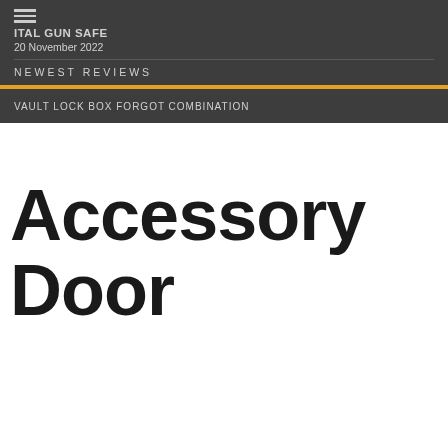ITAL GUN SAFE
20 November 2022
NEWEST REVIEWS
VAULT LOCK BOX FORGOT COMBINATION
Accessory Door